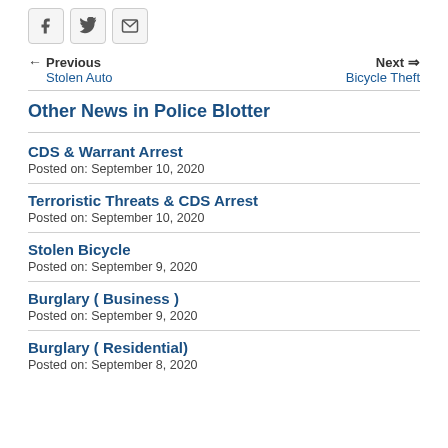[Figure (other): Social sharing icons: Facebook, Twitter, Email]
← Previous
Stolen Auto
Next →
Bicycle Theft
Other News in Police Blotter
CDS & Warrant Arrest
Posted on: September 10, 2020
Terroristic Threats & CDS Arrest
Posted on: September 10, 2020
Stolen Bicycle
Posted on: September 9, 2020
Burglary ( Business )
Posted on: September 9, 2020
Burglary ( Residential)
Posted on: September 8, 2020